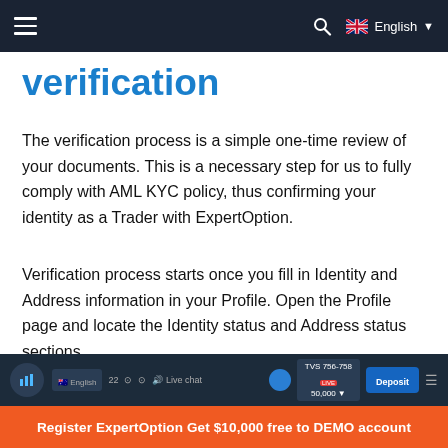≡  🔍  🇬🇧 English ▼
verification
The verification process is a simple one-time review of your documents. This is a necessary step for us to fully comply with AML KYC policy, thus confirming your identity as a Trader with ExpertOption.
Verification process starts once you fill in Identity and Address information in your Profile. Open the Profile page and locate the Identity status and Address status sections.
[Figure (screenshot): Partial screenshot of the ExpertOption trading platform interface showing the top navigation bar.]
Register ExpertOption Get $10,000 free to DEMO account